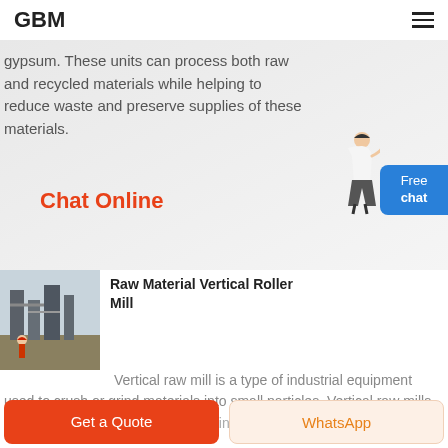GBM
gypsum. These units can process both raw and recycled materials while helping to reduce waste and preserve supplies of these materials.
Chat Online
[Figure (photo): Photo of industrial vertical roller mill equipment with a worker in a red hard hat]
Raw Material Vertical Roller Mill
Vertical raw mill is a type of industrial equipment used to crush or grind materials into small particles. Vertical raw mills are widely used in the cement and mining
Get a Quote
WhatsApp